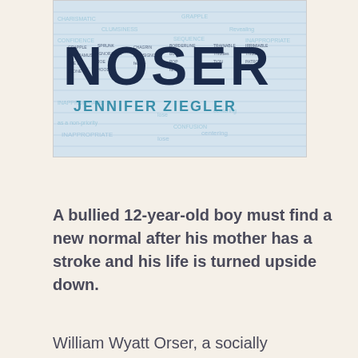[Figure (illustration): Book cover of 'Noser' by Jennifer Ziegler. Large stylized title text 'NOSER' filled with words, on a lined notebook paper background. Author name 'JENNIFER ZIEGLER' in teal/blue letters below the title.]
A bullied 12-year-old boy must find a new normal after his mother has a stroke and his life is turned upside down.
William Wyatt Orser, a socially